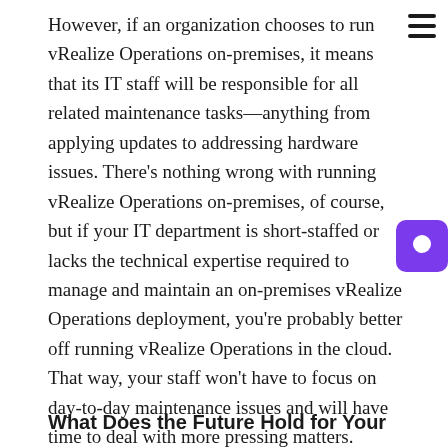However, if an organization chooses to run vRealize Operations on-premises, it means that its IT staff will be responsible for all related maintenance tasks—anything from applying updates to addressing hardware issues. There's nothing wrong with running vRealize Operations on-premises, of course, but if your IT department is short-staffed or lacks the technical expertise required to manage and maintain an on-premises vRealize Operations deployment, you're probably better off running vRealize Operations in the cloud. That way, your staff won't have to focus on day-to-day maintenance issues and will have time to deal with more pressing matters.
What Does the Future Hold for Your